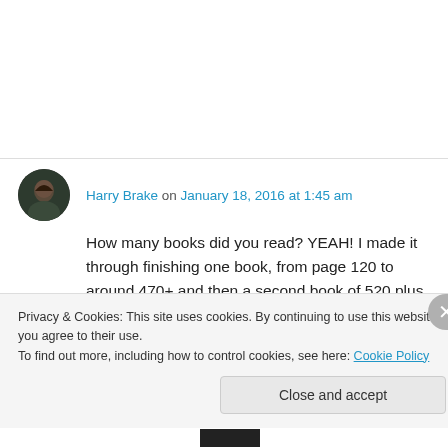Harry Brake on January 18, 2016 at 1:45 am
How many books did you read? YEAH! I made it through finishing one book, from page 120 to around 470+ and then a second book of 520 plus, and 50 pages so far into a third!

Pages? I didn't keep track but by entering it into Goodreads I could find out exactly BUT.
Privacy & Cookies: This site uses cookies. By continuing to use this website, you agree to their use.
To find out more, including how to control cookies, see here: Cookie Policy